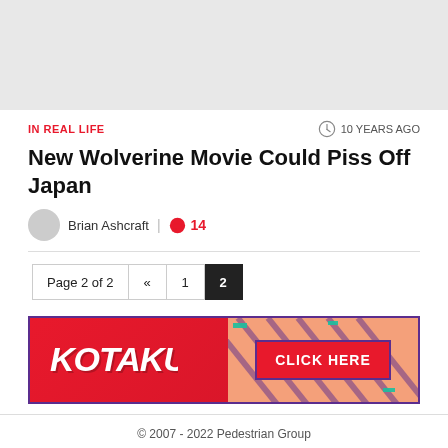[Figure (other): Gray placeholder banner at top of page]
IN REAL LIFE
10 YEARS AGO
New Wolverine Movie Could Piss Off Japan
Brian Ashcraft | 14
Page 2 of 2  «  1  2
[Figure (logo): Kotaku advertisement banner with KOTAKU logo on left and CLICK HERE button on right, red background with colorful diagonal stripe pattern]
© 2007 - 2022 Pedestrian Group
About | Advertise | Contact | Privacy Policy | Terms of Use